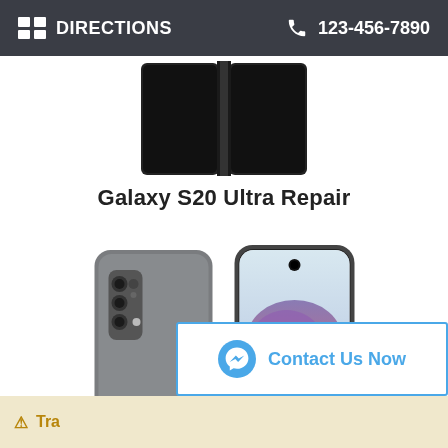DIRECTIONS  123-456-7890
[Figure (photo): Samsung Galaxy Fold phone shown from the front, partially open, black screen]
Galaxy S20 Ultra Repair
[Figure (photo): Samsung Galaxy S20 shown from back and front, cosmic gray color]
Contact Us Now
Tra...